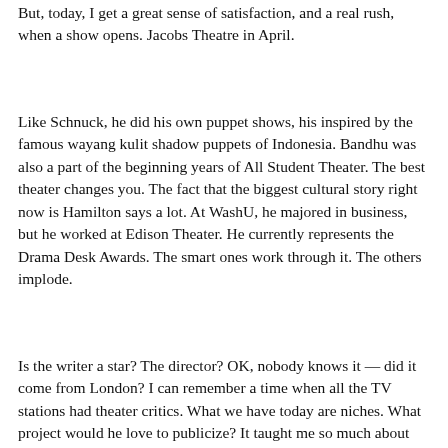But, today, I get a great sense of satisfaction, and a real rush, when a show opens. Jacobs Theatre in April.
Like Schnuck, he did his own puppet shows, his inspired by the famous wayang kulit shadow puppets of Indonesia. Bandhu was also a part of the beginning years of All Student Theater. The best theater changes you. The fact that the biggest cultural story right now is Hamilton says a lot. At WashU, he majored in business, but he worked at Edison Theater. He currently represents the Drama Desk Awards. The smart ones work through it. The others implode.
Is the writer a star? The director? OK, nobody knows it — did it come from London? I can remember a time when all the TV stations had theater critics. What we have today are niches. What project would he love to publicize? It taught me so much about how to present myself in public.
In college, he majored in psychology, pre-law. His father was a lawyer; that would be his path too. Inhe formed his own law firm. Live theater is magic, he says. You can hear the actors breathing; you can see them sweat. In a movie theater, people are slumping in their seats, leaning their he back. They sort of snuck it in. Sinder is